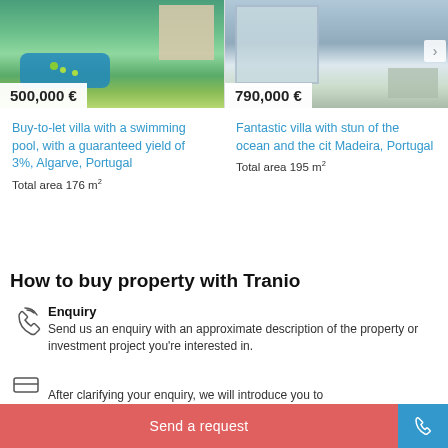[Figure (photo): Aerial/garden view of villa with swimming pool, greenery, Portugal]
500,000 €
Buy-to-let villa with a swimming pool, with a guaranteed yield of 3%, Algarve, Portugal
Total area 176 m²
[Figure (photo): Modern white villa exterior, ocean/city view, Madeira Portugal]
790,000 €
Fantastic villa with stun of the ocean and the cit Madeira, Portugal
Total area 195 m²
How to buy property with Tranio
Enquiry
Send us an enquiry with an approximate description of the property or investment project you're interested in.
Send a request
After clarifying your enquiry, we will introduce you to